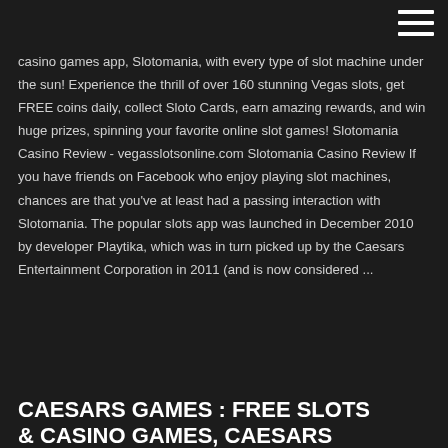casino games app, Slotomania, with every type of slot machine under the sun! Experience the thrill of over 160 stunning Vegas slots, get FREE coins daily, collect Sloto Cards, earn amazing rewards, and win huge prizes, spinning your favorite online slot games! Slotomania Casino Review - vegasslotsonline.com Slotomania Casino Review If you have friends on Facebook who enjoy playing slot machines, chances are that you've at least had a passing interaction with Slotomania. The popular slots app was launched in December 2010 by developer Playtika, which was in turn picked up by the Caesars Entertainment Corporation in 2011 (and is now considered ...
CAESARS GAMES : FREE SLOTS & CASINO GAMES, Caesars...